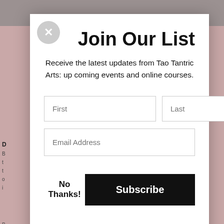Join Our List
Receive the latest updates from Tao Tantric Arts: up coming events and online courses.
[Figure (screenshot): Email signup modal dialog with First/Last name fields, Email Address field, No Thanks! link, and Subscribe button on a blurred website background.]